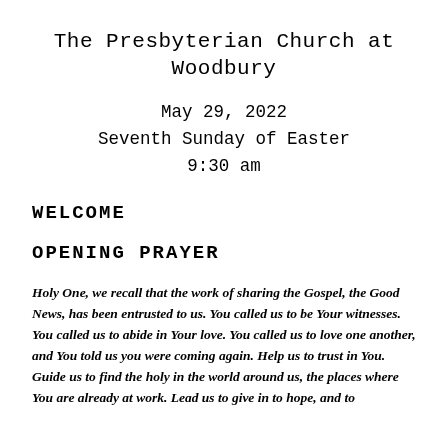The Presbyterian Church at Woodbury
May 29, 2022
Seventh Sunday of Easter
9:30 am
WELCOME
OPENING PRAYER
Holy One, we recall that the work of sharing the Gospel, the Good News, has been entrusted to us. You called us to be Your witnesses. You called us to abide in Your love. You called us to love one another, and You told us you were coming again. Help us to trust in You. Guide us to find the holy in the world around us, the places where You are already at work. Lead us to give in to hope, and to